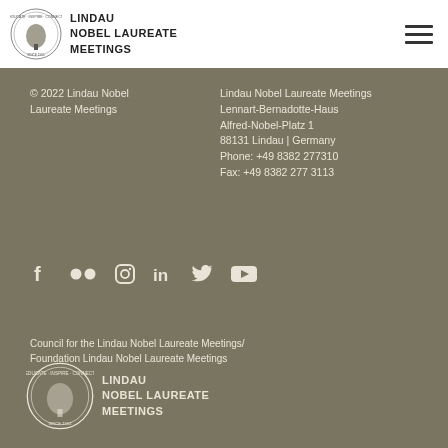[Figure (logo): Lindau Nobel Laureate Meetings circular logo with tree and text, color version]
LINDAU
NOBEL LAUREATE
MEETINGS
[Figure (other): Hamburger menu icon (three horizontal lines)]
© 2022 Lindau Nobel Laureate Meetings
Lindau Nobel Laureate Meetings
Lennart-Bernadotte-Haus
Alfred-Nobel-Platz 1
88131 Lindau | Germany
Phone: +49 8382 277310
Fax: +49 8382 277 3113
[Figure (other): Social media icons: Facebook, Flickr, Instagram, LinkedIn, Twitter, YouTube]
Council for the Lindau Nobel Laureate Meetings/
Foundation Lindau Nobel Laureate Meetings
[Figure (logo): Lindau Nobel Laureate Meetings circular logo with tree and text, white version]